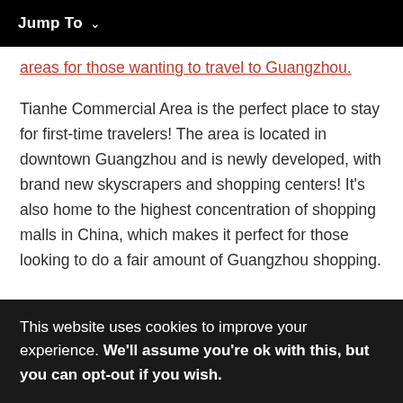Jump To
areas for those wanting to travel to Guangzhou.
Tianhe Commercial Area is the perfect place to stay for first-time travelers! The area is located in downtown Guangzhou and is newly developed, with brand new skyscrapers and shopping centers! It's also home to the highest concentration of shopping malls in China, which makes it perfect for those looking to do a fair amount of Guangzhou shopping.
This website uses cookies to improve your experience. We'll assume you're ok with this, but you can opt-out if you wish.